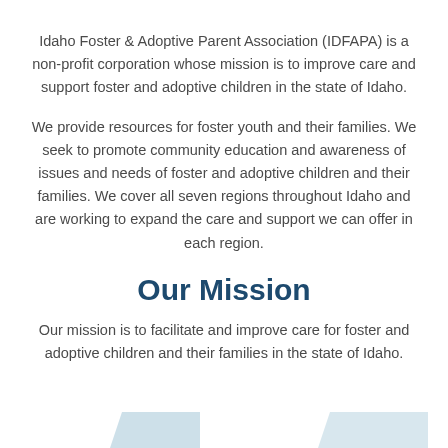Idaho Foster & Adoptive Parent Association (IDFAPA) is a non-profit corporation whose mission is to improve care and support foster and adoptive children in the state of Idaho.
We provide resources for foster youth and their families. We seek to promote community education and awareness of issues and needs of foster and adoptive children and their families. We cover all seven regions throughout Idaho and are working to expand the care and support we can offer in each region.
Our Mission
Our mission is to facilitate and improve care for foster and adoptive children and their families in the state of Idaho.